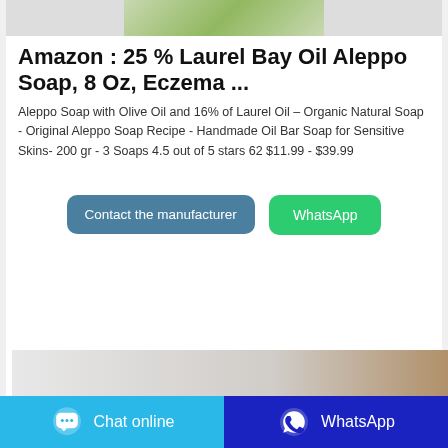[Figure (photo): Top portion of a product image showing green/plant-based soap packaging]
Amazon : 25 % Laurel Bay Oil Aleppo Soap, 8 Oz, Eczema ...
Aleppo Soap with Olive Oil and 16% of Laurel Oil – Organic Natural Soap - Original Aleppo Soap Recipe - Handmade Oil Bar Soap for Sensitive Skins- 200 gr - 3 Soaps 4.5 out of 5 stars 62 $11.99 - $39.99
[Figure (screenshot): Contact the manufacturer button (blue-grey) and WhatsApp button (green)]
[Figure (photo): Bottom portion of a product image showing soap bars on marble/wood surface]
[Figure (screenshot): Footer bar with Chat online button (light blue) and WhatsApp button (dark blue)]